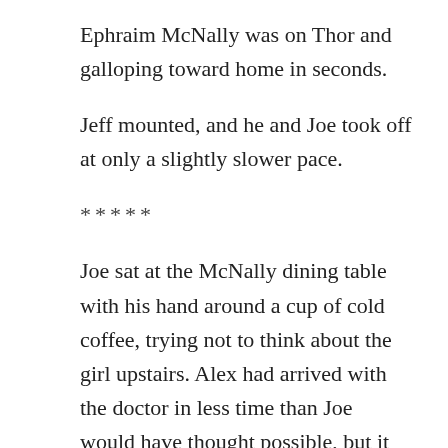Ephraim McNally was on Thor and galloping toward home in seconds.
Jeff mounted, and he and Joe took off at only a slightly slower pace.
*****
Joe sat at the McNally dining table with his hand around a cup of cold coffee, trying not to think about the girl upstairs. Alex had arrived with the doctor in less time than Joe would have thought possible, but it had still seemed like forever. When he and Jeff had first arrived, Jeff had made Joe sit down and had put the then hot coffee into his hand. Paul had come downstairs still wearing a shirt stained with Helen’s blood, and sat down beside Joe. Paul had mumbled an apology for